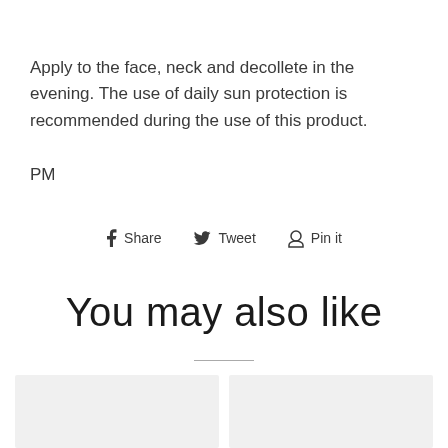Apply to the face, neck and decollete in the evening. The use of daily sun protection is recommended during the use of this product.
PM
Share  Tweet  Pin it
You may also like
[Figure (other): Two product card placeholders side by side with light gray backgrounds]